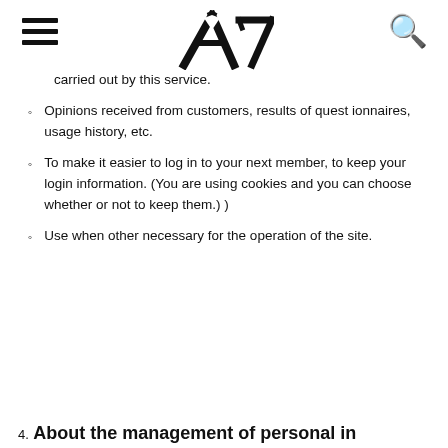Navigation header with hamburger menu, A7 logo, and search icon
carried out by this service.
Opinions received from customers, results of quest ionnaires, usage history, etc.
To make it easier to log in to your next member, to keep your login information. (You are using cookies and you can choose whether or not to keep them.) )
Use when other necessary for the operation of the site.
4. About the management of personal in